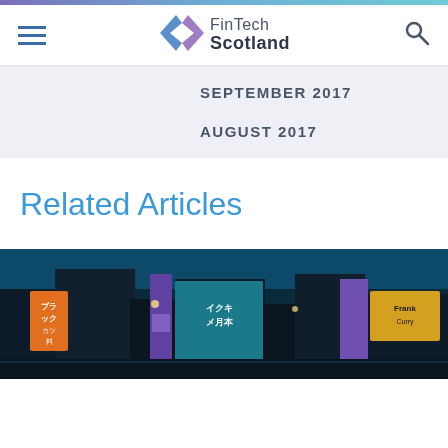FinTech Scotland
SEPTEMBER 2017
AUGUST 2017
Related Articles
[Figure (photo): Night city street scene with neon signs in Japanese, illuminated billboards in purple, orange, yellow, and teal colors, urban cityscape at night]